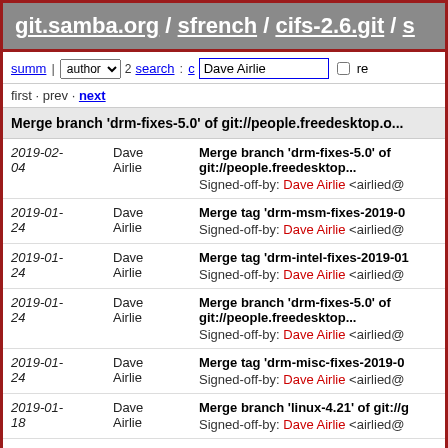git.samba.org / sfrench / cifs-2.6.git /
summ  author  search: Dave Airlie  re  first · prev · next
Merge branch 'drm-fixes-5.0' of git://people.freedesktop.o...
| Date | Author | Commit |
| --- | --- | --- |
| 2019-02-04 | Dave Airlie | Merge branch 'drm-fixes-5.0' of git://people.freedesktop...
Signed-off-by: Dave Airlie <airlied@... |
| 2019-01-24 | Dave Airlie | Merge tag 'drm-msm-fixes-2019-0...
Signed-off-by: Dave Airlie <airlied@... |
| 2019-01-24 | Dave Airlie | Merge tag 'drm-intel-fixes-2019-01...
Signed-off-by: Dave Airlie <airlied@... |
| 2019-01-24 | Dave Airlie | Merge branch 'drm-fixes-5.0' of git://people.freedesktop...
Signed-off-by: Dave Airlie <airlied@... |
| 2019-01-24 | Dave Airlie | Merge tag 'drm-misc-fixes-2019-0...
Signed-off-by: Dave Airlie <airlied@... |
| 2019-01-18 | Dave Airlie | Merge branch 'linux-4.21' of git://g...
Signed-off-by: Dave Airlie <airlied@... |
| 2019-01-... | Dave... | Merge tag 'drm-misc-fixes-2019-0... |